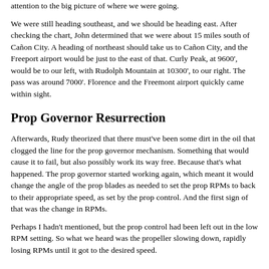attention to the big picture of where we were going.
We were still heading southeast, and we should be heading east. After checking the chart, John determined that we were about 15 miles south of Cañon City. A heading of northeast should take us to Cañon City, and the Freeport airport would be just to the east of that. Curly Peak, at 9600', would be to our left, with Rudolph Mountain at 10300', to our right. The pass was around 7000'. Florence and the Freemont airport quickly came within sight.
Prop Governor Resurrection
Afterwards, Rudy theorized that there must've been some dirt in the oil that clogged the line for the prop governor mechanism. Something that would cause it to fail, but also possibly work its way free. Because that's what happened. The prop governor started working again, which meant it would change the angle of the prop blades as needed to set the prop RPMs to back to their appropriate speed, as set by the prop control. And the first sign of that was the change in RPMs.
Perhaps I hadn't mentioned, but the prop control had been left out in the low RPM setting. So what we heard was the propeller slowing down, rapidly losing RPMs until it got to the desired speed.